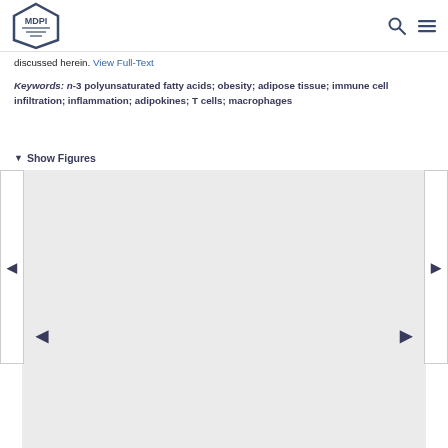MDPI
discussed herein. View Full-Text
Keywords: n-3 polyunsaturated fatty acids; obesity; adipose tissue; immune cell infiltration; inflammation; adipokines; T cells; macrophages
▼ Show Figures
[Figure (other): Image carousel with navigation arrows and grey placeholder content area]